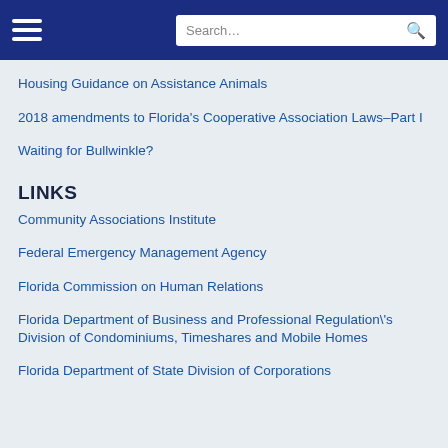Navigation header with hamburger menu and search bar
Housing Guidance on Assistance Animals
2018 amendments to Florida's Cooperative Association Laws–Part I
Waiting for Bullwinkle?
LINKS
Community Associations Institute
Federal Emergency Management Agency
Florida Commission on Human Relations
Florida Department of Business and Professional Regulation\'s Division of Condominiums, Timeshares and Mobile Homes
Florida Department of State Division of Corporations